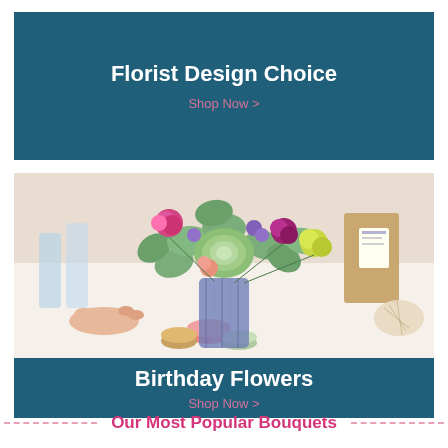Florist Design Choice
Shop Now >
[Figure (photo): A floral arrangement in a vase featuring succulents, pink, purple, yellow-green and orange flowers with eucalyptus leaves on a white table. A hand is reaching toward macarons in the foreground. Glasses and gift bags are visible in the background.]
Birthday Flowers
Shop Now >
Our Most Popular Bouquets